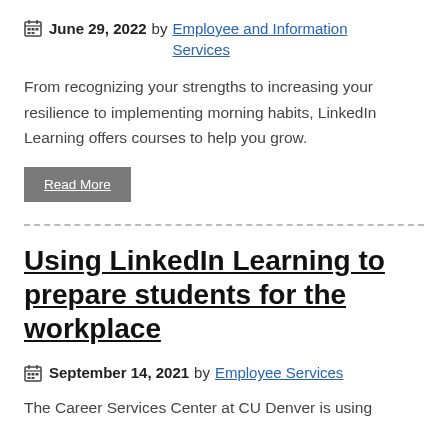June 29, 2022 by Employee and Information Services
From recognizing your strengths to increasing your resilience to implementing morning habits, LinkedIn Learning offers courses to help you grow.
Read More
Using LinkedIn Learning to prepare students for the workplace
September 14, 2021 by Employee Services
The Career Services Center at CU Denver is using